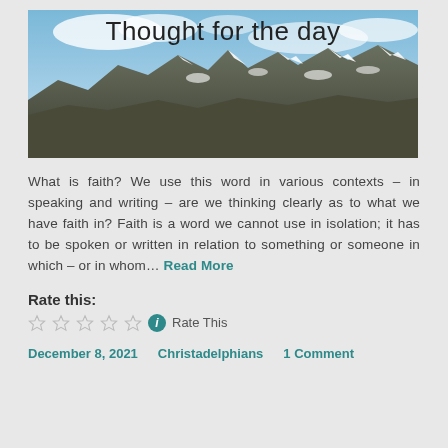[Figure (photo): Mountain landscape with snow-capped peaks and the title 'Thought for the day' overlaid in large text]
What is faith? We use this word in various contexts – in speaking and writing – are we thinking clearly as to what we have faith in? Faith is a word we cannot use in isolation; it has to be spoken or written in relation to something or someone in which – or in whom… Read More
Rate this:
Rate This
December 8, 2021   Christadelphians   1 Comment